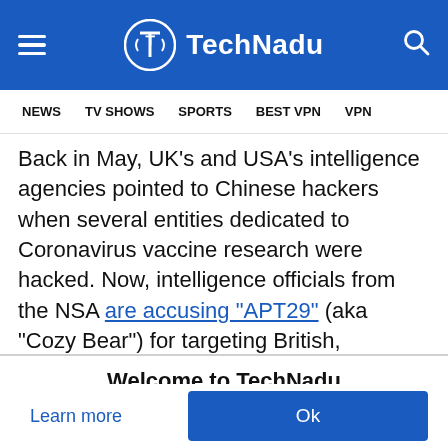[Figure (logo): TechNadu website header with hamburger menu icon on left, TechNadu logo (circle with T icon) and text in center, search icon on right, on blue background]
NEWS   TV SHOWS   SPORTS   BEST VPN   VPN
Back in May, UK's and USA's intelligence agencies pointed to Chinese hackers when several entities dedicated to Coronavirus vaccine research were hacked. Now, intelligence officials from the NSA are accusing "APT29" (aka "Cozy Bear") for targeting British, Canadian, and American
Welcome to TechNadu
This website uses cookies to ensure you get the best experience on our website.
Learn more
Ok